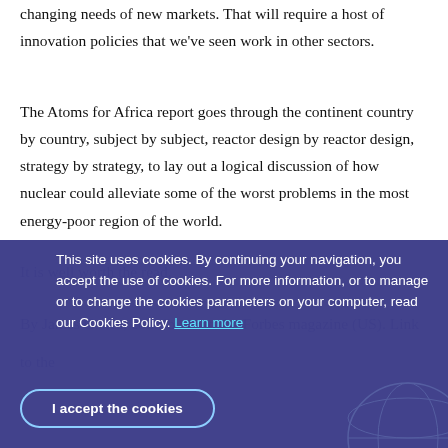changing needs of new markets. That will require a host of innovation policies that we've seen work in other sectors.
The Atoms for Africa report goes through the continent country by country, subject by subject, reactor design by reactor design, strategy by strategy, to lay out a logical discussion of how nuclear could alleviate some of the worst problems in the most energy-poor region of the world.
It is well worth the read.
By James Conca, contributor to the Forbes magazine (US). Link to the [article]
This site uses cookies. By continuing your navigation, you accept the use of cookies. For more information, or to manage or to change the cookies parameters on your computer, read our Cookies Policy. Learn more
I accept the cookies